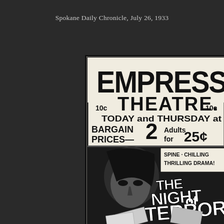Spokane Daily Chronicle, July 26, 1933
[Figure (photo): Scanned newspaper advertisement for the Empress Theatre showing a partial view of a movie poster. The ad reads: EMPRESS THEATRE. 10c TODAY and THURSDAY at 10c. BARGAIN PRICES— 2 Adults for 25¢. SPINE-CHILLING THRILLING DRAMA! THE NIGHT OF TERROR. Features a dramatic black and white image of a man's face looking sinisterly, with the movie title in large stylized letters.]